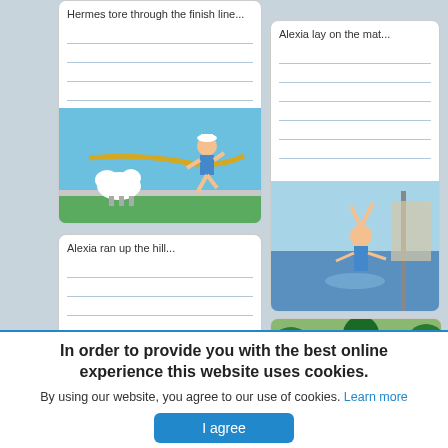Hermes tore through the finish line...
[Figure (illustration): Child in sailor outfit running through finish line tape on a track, with sheep in the background]
Alexia lay on the mat...
[Figure (illustration): Child doing gymnastics or falling near a pole vault mat near water]
Alexia ran up the hill...
[Figure (illustration): Child at a picnic or outdoor gathering with other children in a wooded area]
In order to provide you with the best online experience this website uses cookies.
By using our website, you agree to our use of cookies. Learn more
I agree